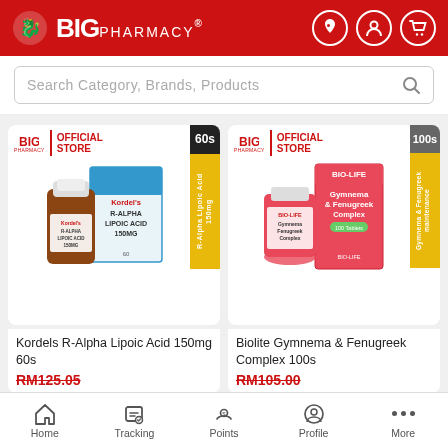BIG PHARMACY
Search Category, Brands, Products
[Figure (photo): Kordels R-Alpha Lipoic Acid 150mg 60s product image with Official BIG Pharmacy Store badge and yellow/black side label showing '60s' and 'R-Alpha Lipoic Acid 150mg']
Kordels R-Alpha Lipoic Acid 150mg 60s
RM125.05
[Figure (photo): Biolite Gymnema & Fenugreek Complex 100s product image with Official BIG Pharmacy Store badge and yellow/grey side label showing '100s' and 'Gymnema & Fenugreek maintenance']
Biolite Gymnema & Fenugreek Complex 100s
RM105.00
Home  Tracking  Points  Profile  More